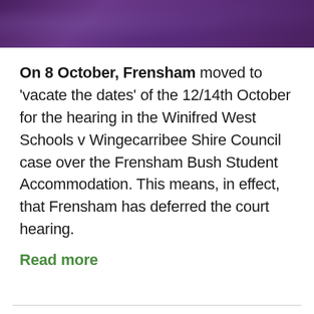[Figure (photo): Purple textured banner image at the top of the page]
On 8 October, Frensham moved to 'vacate the dates' of the 12/14th October for the hearing in the Winifred West Schools v Wingecarribee Shire Council case over the Frensham Bush Student Accommodation. This means, in effect, that Frensham has deferred the court hearing.
Read more